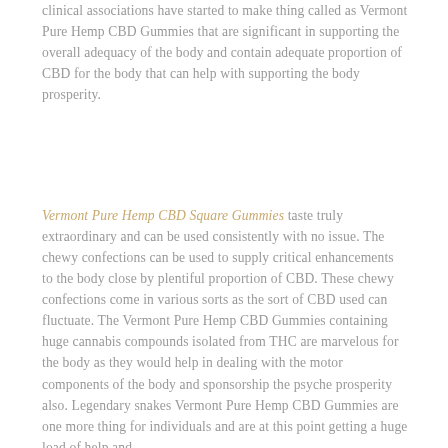clinical associations have started to make thing called as Vermont Pure Hemp CBD Gummies that are significant in supporting the overall adequacy of the body and contain adequate proportion of CBD for the body that can help with supporting the body prosperity.
Vermont Pure Hemp CBD Square Gummies taste truly extraordinary and can be used consistently with no issue. The chewy confections can be used to supply critical enhancements to the body close by plentiful proportion of CBD. These chewy confections come in various sorts as the sort of CBD used can fluctuate. The Vermont Pure Hemp CBD Gummies containing huge cannabis compounds isolated from THC are marvelous for the body as they would help in dealing with the motor components of the body and sponsorship the psyche prosperity also. Legendary snakes Vermont Pure Hemp CBD Gummies are one more thing for individuals and are at this point getting a huge load of help and